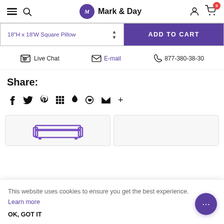Mark & Day — navigation header with hamburger menu, search, logo, user icon, cart (0)
18"H x 18'W Square Pillow — ADD TO CART
Live Chat  E-mail  877-380-38-30
Share:
Social share icons: Facebook, Twitter, Pinterest, Grid/apps, bookmark, heart, email, plus
[Figure (illustration): Two product thumbnail cards at bottom, left card shows a purple illustration of a sofa/bench]
This website uses cookies to ensure you get the best experience. Learn more
OK, GOT IT